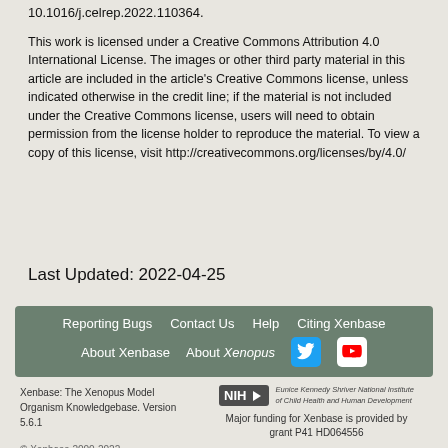10.1016/j.celrep.2022.110364.
This work is licensed under a Creative Commons Attribution 4.0 International License. The images or other third party material in this article are included in the article's Creative Commons license, unless indicated otherwise in the credit line; if the material is not included under the Creative Commons license, users will need to obtain permission from the license holder to reproduce the material. To view a copy of this license, visit http://creativecommons.org/licenses/by/4.0/
Last Updated: 2022-04-25
Reporting Bugs   Contact Us   Help   Citing Xenbase   About Xenbase   About Xenopus
Xenbase: The Xenopus Model Organism Knowledgebase. Version 5.6.1
© Xenbase 2000-2022
Major funding for Xenbase is provided by grant P41 HD064556